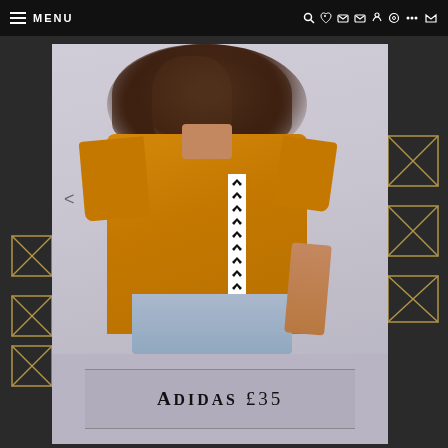MENU
[Figure (photo): Screenshot of a fashion blog/e-commerce website showing a woman wearing an oversized yellow/orange Adidas t-shirt with logo tape down the side, displayed on a product card with geometric gold decorations, and a price label reading ADIDAS £35]
ADIDAS £35